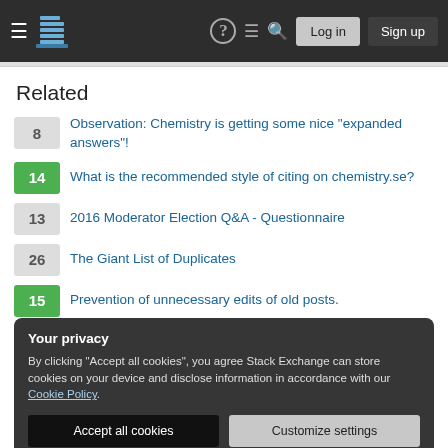≡  [logo]  ?  ≡  🔍  Log in  Sign up
Related
8  Observation: Chemistry is getting some nice "expanded answers"!
14  What is the recommended style of citing on chemistry.se?
13  2016 Moderator Election Q&A - Questionnaire
26  The Giant List of Duplicates
15  Prevention of unnecessary edits of old posts.
Your privacy
By clicking "Accept all cookies", you agree Stack Exchange can store cookies on your device and disclose information in accordance with our Cookie Policy.
3  Community Ads for 2021